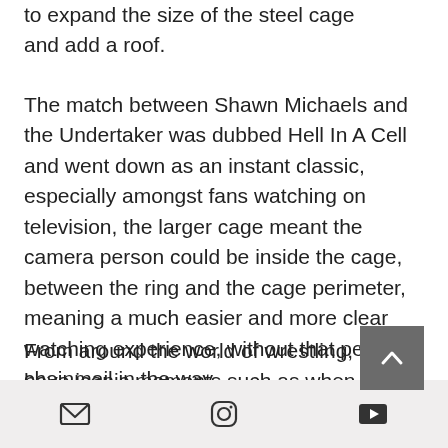to expand the size of the steel cage and add a roof.
The match between Shawn Michaels and the Undertaker was dubbed Hell In A Cell and went down as an instant classic, especially amongst fans watching on television, the larger cage meant the camera person could be inside the cage, between the ring and the cage perimeter, meaning a much easier and more clear watching experience, without that pesky chainmail in the way.
From around the world of wrestling, we have iconic moments such as when Mick Foley plunged from the
[email icon] [instagram icon] [youtube icon]